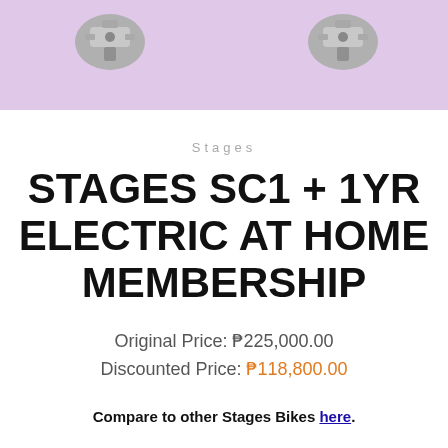[Figure (illustration): Purple/lavender banner background with partial images of metal bike pedal/cleat hardware on left and right sides]
Stages
STAGES SC1 + 1YR ELECTRIC AT HOME MEMBERSHIP
Original Price: ₱225,000.00
Discounted Price: ₱118,800.00
Compare to other Stages Bikes here.